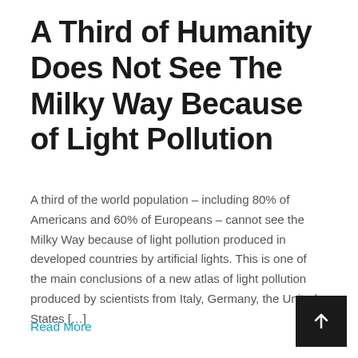A Third of Humanity Does Not See The Milky Way Because of Light Pollution
A third of the world population – including 80% of Americans and 60% of Europeans – cannot see the Milky Way because of light pollution produced in developed countries by artificial lights. This is one of the main conclusions of a new atlas of light pollution produced by scientists from Italy, Germany, the United States […]
Read More